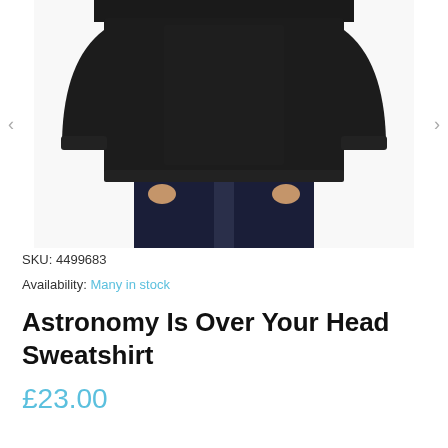[Figure (photo): A person wearing a black crewneck sweatshirt with dark navy jeans, shown from the neck/shoulders down to the thighs. The sweatshirt is plain black with ribbed cuffs and hem.]
SKU: 4499683
Availability: Many in stock
Astronomy Is Over Your Head Sweatshirt
£23.00